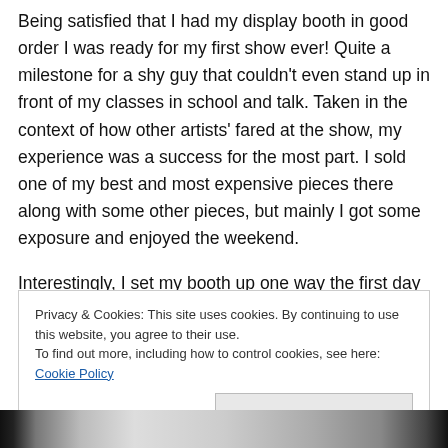Being satisfied that I had my display booth in good order I was ready for my first show ever! Quite a milestone for a shy guy that couldn't even stand up in front of my classes in school and talk. Taken in the context of how other artists' fared at the show, my experience was a success for the most part. I sold one of my best and most expensive pieces there along with some other pieces, but mainly I got some exposure and enjoyed the weekend.
Interestingly, I set my booth up one way the first day and
Privacy & Cookies: This site uses cookies. By continuing to use this website, you agree to their use.
To find out more, including how to control cookies, see here: Cookie Policy

Close and accept
[Figure (photo): Bottom strip of a photograph showing what appears to be an outdoor scene, mostly obscured.]